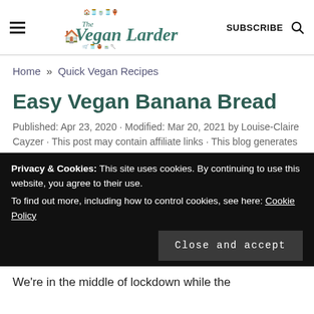The Vegan Larder | SUBSCRIBE
Home » Quick Vegan Recipes
Easy Vegan Banana Bread
Published: Apr 23, 2020 · Modified: Mar 20, 2021 by Louise-Claire Cayzer · This post may contain affiliate links · This blog generates
Privacy & Cookies: This site uses cookies. By continuing to use this website, you agree to their use. To find out more, including how to control cookies, see here: Cookie Policy
Close and accept
We're in the middle of lockdown while the